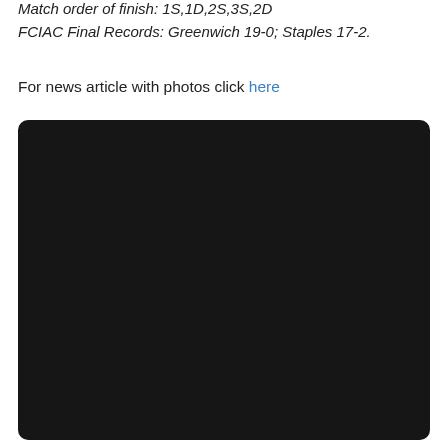Match order of finish: 1S,1D,2S,3S,2D
FCIAC Final Records: Greenwich 19-0; Staples 17-2.
For news article with photos click here
[Figure (photo): A mostly black/dark image placeholder occupying the lower portion of the page, with rounded corners.]